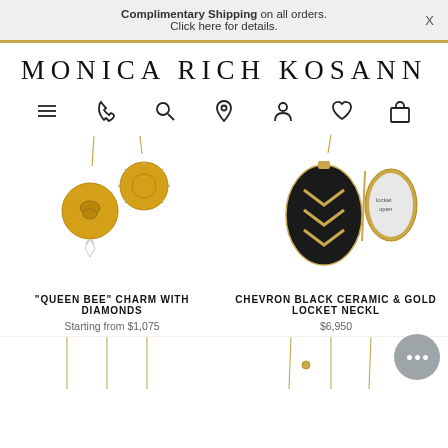Complimentary Shipping on all orders. Click here for details.
MONICA RICH KOSANN
[Figure (screenshot): Navigation icons row: hamburger menu, phone, search, location pin, person, heart, shopping bag]
[Figure (photo): Queen Bee Charm with Diamonds jewelry product photo showing two gold coin pendants on chains]
"QUEEN BEE" CHARM WITH DIAMONDS
Starting from $1,075
[Figure (photo): Chevron Black Ceramic & Gold Locket Necklace product photo showing black oval locket with gold chevron pattern, open and closed]
CHEVRON BLACK CERAMIC & GOLD LOCKET NECKL
$6,950
[Figure (photo): Bottom row showing gold chain necklaces, partially visible]